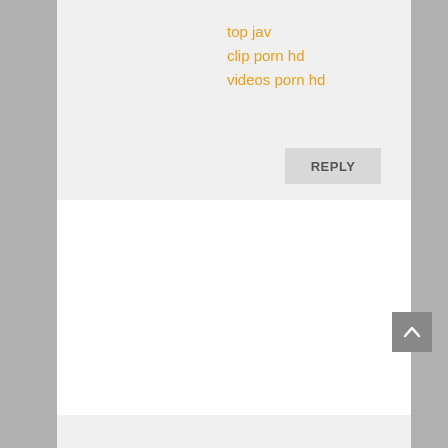top jav
clip porn hd
videos porn hd
REPLY
Jolynn Caro on December 11, 2015 at 9:18 am
students sex
threesome video
teens sex
REPLY
Johnn Caro